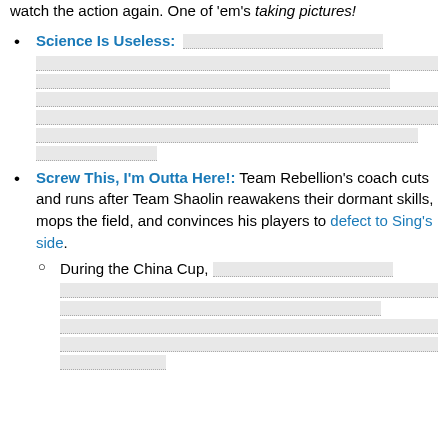watch the action again. One of 'em's taking pictures!
Science Is Useless: [redacted content]
Screw This, I'm Outta Here!: Team Rebellion's coach cuts and runs after Team Shaolin reawakens their dormant skills, mops the field, and convinces his players to defect to Sing's side.
During the China Cup, [redacted content]